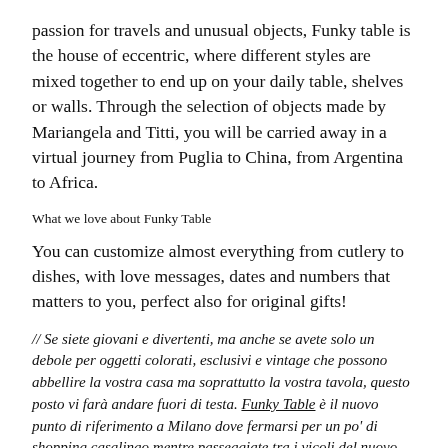passion for travels and unusual objects, Funky table is the house of eccentric, where different styles are mixed together to end up on your daily table, shelves or walls. Through the selection of objects made by Mariangela and Titti, you will be carried away in a virtual journey from Puglia to China, from Argentina to Africa.
What we love about Funky Table
You can customize almost everything from cutlery to dishes, with love messages, dates and numbers that matters to you, perfect also for original gifts!
// Se siete giovani e divertenti, ma anche se avete solo un debole per oggetti colorati, esclusivi e vintage che possono abbellire la vostra casa ma soprattutto la vostra tavola, questo posto vi farà andare fuori di testa. Funky Table è il nuovo punto di riferimento a Milano dove fermarsi per un po' di shopping casalingo mentre passeggiate tra i vicoli del nuovo distretto del design 5vie.
Fondato da Mariangela e Titti Negroni, due sorelle con un passato nel